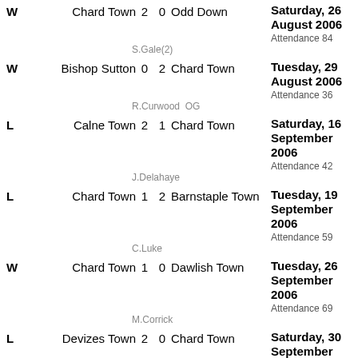W  Chard Town 2 0 Odd Down  Saturday, 26 August 2006 Attendance 84  S.Gale(2)
W  Bishop Sutton 0 2 Chard Town  Tuesday, 29 August 2006 Attendance 36  R.Curwood OG
L  Calne Town 2 1 Chard Town  Saturday, 16 September 2006 Attendance 42  J.Delahaye
L  Chard Town 1 2 Barnstaple Town  Tuesday, 19 September 2006 Attendance 59  C.Luke
W  Chard Town 1 0 Dawlish Town  Tuesday, 26 September 2006 Attendance 69  M.Corrick
L  Devizes Town 2 0 Chard Town  Saturday, 30 September 2006 Attendance 50
L  Chard Town 0 5 Brislington  Saturday, 07 October 2006 Attendance 73
L  Hallen 3 1 Chard Town  Saturday, 14 October 2006